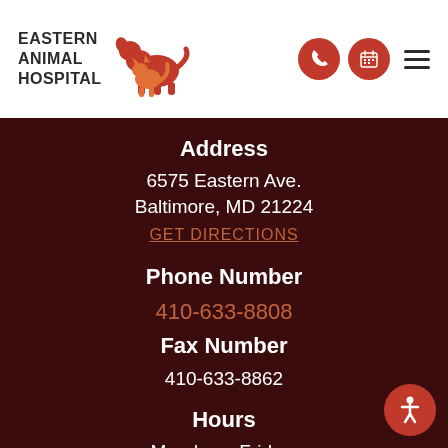[Figure (logo): Eastern Animal Hospital logo with dog and cat silhouette in red/orange]
Address
6575 Eastern Ave.
Baltimore, MD 21224
GET DIRECTIONS
Phone Number
410-633-8808
Fax Number
410-633-8862
Hours
Monday – Friday:
7:30 am – 9:00 pm